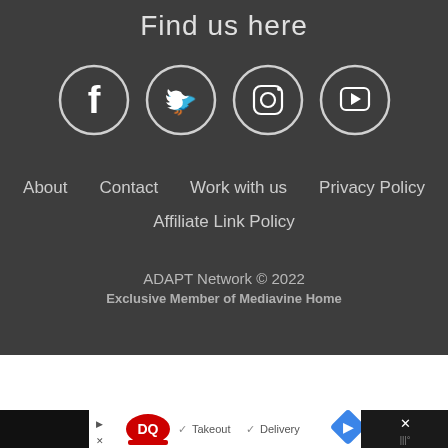Find us here
[Figure (illustration): Four social media icons in circles: Facebook, Twitter, Instagram, YouTube]
About   Contact   Work with us   Privacy Policy
Affiliate Link Policy
ADAPT Network © 2022
Exclusive Member of Mediavine Home
[Figure (screenshot): Dairy Queen advertisement banner showing Takeout and Delivery checkmarks with navigation arrow icon]